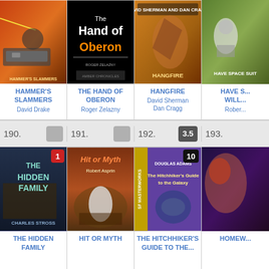[Figure (illustration): Book cover: Hammer's Slammers by David Drake - sci-fi military tank scene]
HAMMER'S SLAMMERS
David Drake
[Figure (illustration): Book cover: The Hand of Oberon by Roger Zelazny - black cover with orange title text]
THE HAND OF OBERON
Roger Zelazny
[Figure (illustration): Book cover: Hangfire by David Sherman and Dan Cragg]
HANGFIRE
David Sherman
Dan Cragg
[Figure (illustration): Book cover: Have Space Suit Will Travel - partially visible]
HAVE S...
WILL...
Rober...
190.
191.
192.
193.
[Figure (illustration): Book cover: The Hidden Family by Charles Stross, with red badge showing 1]
THE HIDDEN FAMILY
[Figure (illustration): Book cover: Hit or Myth by Robert Asprin]
HIT OR MYTH
[Figure (illustration): Book cover: The Hitchhiker's Guide to the Galaxy by Douglas Adams - SF Masterworks edition, with dark badge showing 10]
THE HITCHHIKER'S GUIDE TO THE...
[Figure (illustration): Book cover: Homew... (partially visible)]
HOMEW...